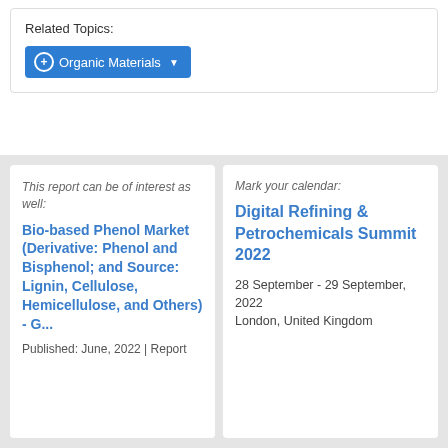Related Topics:
+ Organic Materials ▾
This report can be of interest as well:
Bio-based Phenol Market (Derivative: Phenol and Bisphenol; and Source: Lignin, Cellulose, Hemicellulose, and Others) - G...
Published: June, 2022 | Report
Mark your calendar:
Digital Refining & Petrochemicals Summit 2022
28 September - 29 September, 2022
London, United Kingdom